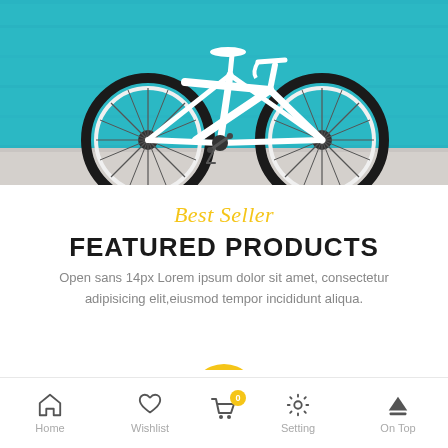[Figure (photo): White road bicycle leaning against a teal/cyan painted wall on a light concrete pavement]
Best Seller
FEATURED PRODUCTS
Open sans 14px Lorem ipsum dolor sit amet, consectetur adipisicing elit,eiusmod tempor incididunt aliqua.
Home  Wishlist  Cart  Setting  On Top